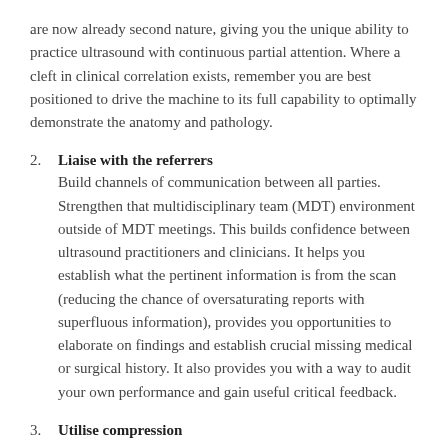are now already second nature, giving you the unique ability to practice ultrasound with continuous partial attention. Where a cleft in clinical correlation exists, remember you are best positioned to drive the machine to its full capability to optimally demonstrate the anatomy and pathology.
2. Liaise with the referrers
Build channels of communication between all parties. Strengthen that multidisciplinary team (MDT) environment outside of MDT meetings. This builds confidence between ultrasound practitioners and clinicians. It helps you establish what the pertinent information is from the scan (reducing the chance of oversaturating reports with superfluous information), provides you opportunities to elaborate on findings and establish crucial missing medical or surgical history. It also provides you with a way to audit your own performance and gain useful critical feedback.
3. Utilise compression